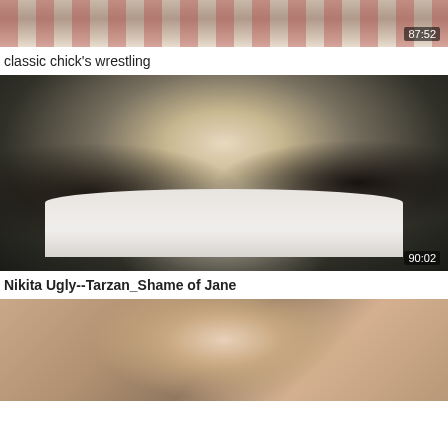[Figure (screenshot): Partial video thumbnail showing bottom strip of a scene with red and white tablecloth pattern, timestamp 87:52]
classic chicks's wrestling
[Figure (screenshot): Video thumbnail showing people in formal attire seated around a dinner table with white tablecloth, flowers as centerpiece, dimly lit scene, timestamp 90:02]
Nikita Ugly--Tarzan_Shame of Jane
[Figure (screenshot): Partial video thumbnail showing two people, appears to be a romantic scene with warm brown tones]